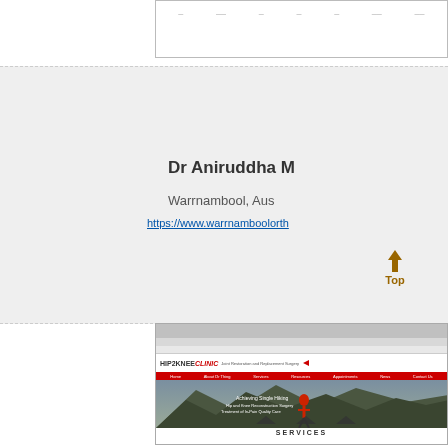[Figure (table-as-image): Partial view of a table with column headers and data rows, cut off at top]
Dr Aniruddha M
Warrnambool, Aus
https://www.warrnamboolorth
[Figure (screenshot): Screenshot of Hip2Knee Clinic website showing logo, navigation bar, mountain background image with a person, and SERVICES section label at bottom]